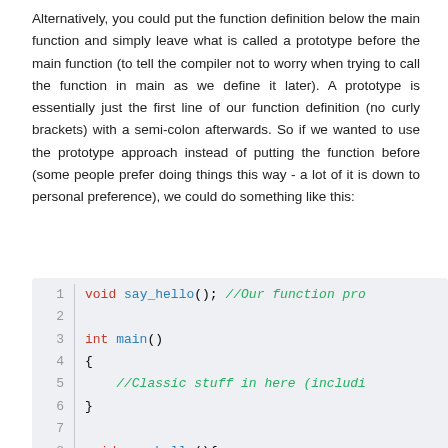Alternatively, you could put the function definition below the main function and simply leave what is called a prototype before the main function (to tell the compiler not to worry when trying to call the function in main as we define it later). A prototype is essentially just the first line of our function definition (no curly brackets) with a semi-colon afterwards. So if we wanted to use the prototype approach instead of putting the function before (some people prefer doing things this way - a lot of it is down to personal preference), we could do something like this:
[Figure (screenshot): Code block showing C++ prototype usage. Line 1: void say_hello(); //Our function pro... Line 2: (blank) Line 3: int main() Line 4: { Line 5: //Classic stuff in here (includi... Line 6: } Line 7: (blank) Line 8 (partial): void say_hello() {]